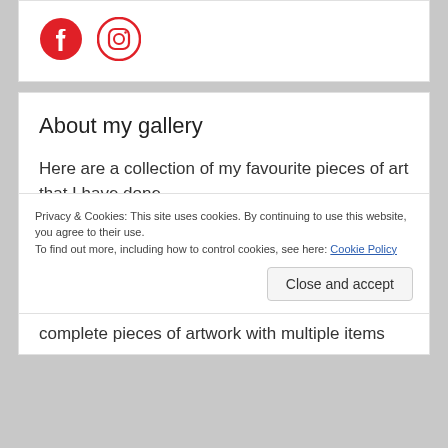[Figure (logo): Facebook and Instagram social media icons]
About my gallery
Here are a collection of my favourite pieces of art that I have done.
I started by taking photos as a hobby, mainly
Privacy & Cookies: This site uses cookies. By continuing to use this website, you agree to their use.
To find out more, including how to control cookies, see here: Cookie Policy
complete pieces of artwork with multiple items